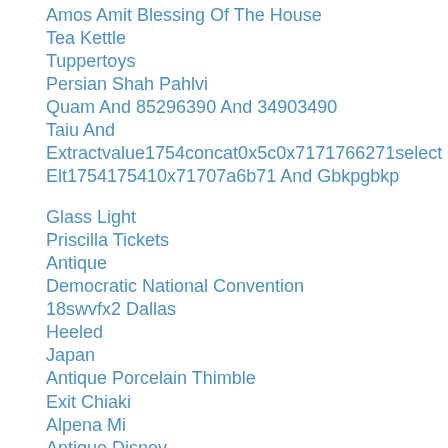Amos Amit Blessing Of The House
Tea Kettle
Tuppertoys
Persian Shah Pahlvi
Quam And 85296390 And 34903490
Taiu And Extractvalue1754concat0x5c0x71717662 71select Elt1754175410x71707a6b71 And Gbkpgbkp
Glass Light
Priscilla Tickets
Antique
Democratic National Convention
18swvfx2 Dallas
Heeled
Japan
Antique Porcelain Thimble
Exit Chiaki
Alpena Mi
Antique Disney
Coffee Black
Ussr Cap
Vintage Embroidery Transfers
Spotted Horse
cliff...